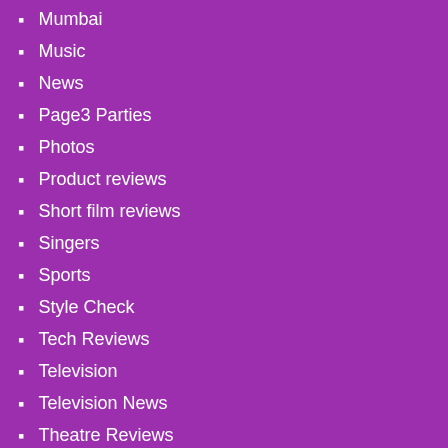Mumbai
Music
News
Page3 Parties
Photos
Product reviews
Short film reviews
Singers
Sports
Style Check
Tech Reviews
Television
Television News
Theatre Reviews
Things to do
Tips
Travel Diaries